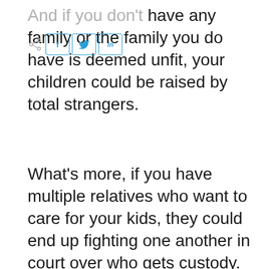And if you don't have any family or the family you do have is deemed unfit, your children could be raised by total strangers.
What's more, if you have multiple relatives who want to care for your kids, they could end up fighting one another in court over who gets custody. This can get extremely ugly, as otherwise, well-meaning family members fight one another for years, making their lawyers wealthy, while your kids are stuck in the middle.
In light of these facts, if you have minor children, your number-one planning priority